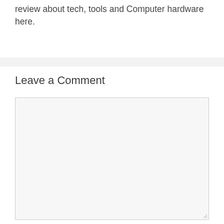review about tech, tools and Computer hardware here.
Leave a Comment
[Figure (screenshot): Empty comment textarea input box with a light gray background and a resize handle in the bottom-right corner]